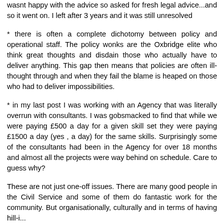wasnt happy with the advice so asked for fresh legal advice...and so it went on. I left after 3 years and it was still unresolved
* there is often a complete dichotomy between policy and operational staff. The policy wonks are the Oxbridge elite who think great thoughts and disdain those who actually have to deliver anything. This gap then means that policies are often ill-thought through and when they fail the blame is heaped on those who had to deliver impossibilities.
* in my last post I was working with an Agency that was literally overrun with consultants. I was gobsmacked to find that while we were paying £500 a day for a given skill set they were paying £1500 a day (yes , a day) for the same skills. Surprisingly some of the consultants had been in the Agency for over 18 months and almost all the projects were way behind on schedule. Care to guess why?
These are not just one-off issues. There are many good people in the Civil Service and some of them do fantastic work for the community. But organisationally, culturally and in terms of havinghill-i...